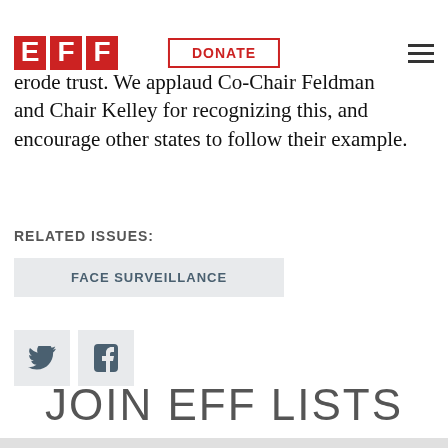EFF | DONATE
They also must be held accountable for actions that erode trust. We applaud Co-Chair Feldman and Chair Kelley for recognizing this, and encourage other states to follow their example.
RELATED ISSUES:
FACE SURVEILLANCE
[Figure (other): Twitter and Facebook social share icons]
JOIN EFF LISTS